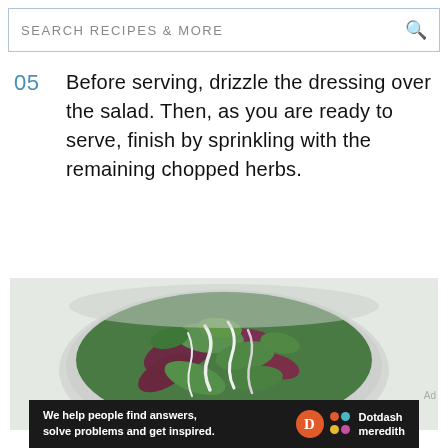SEARCH RECIPES & MORE
05  Before serving, drizzle the dressing over the salad. Then, as you are ready to serve, finish by sprinkling with the remaining chopped herbs.
[Figure (photo): Overhead view of a white bowl filled with green salad leaves and dark beet leaves, drizzled with white cream dressing, on a light background.]
Ad
We help people find answers, solve problems and get inspired.  Dotdash meredith